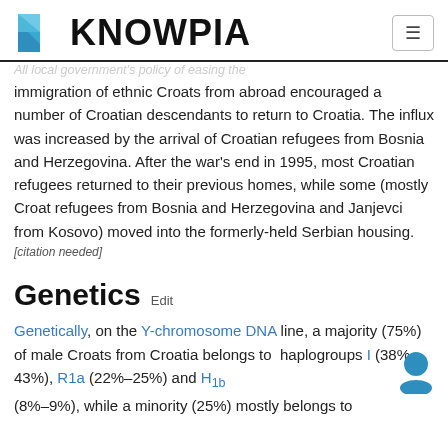KNOWPIA
immigration of ethnic Croats from abroad encouraged a number of Croatian descendants to return to Croatia. The influx was increased by the arrival of Croatian refugees from Bosnia and Herzegovina. After the war's end in 1995, most Croatian refugees returned to their previous homes, while some (mostly Croat refugees from Bosnia and Herzegovina and Janjevci from Kosovo) moved into the formerly-held Serbian housing.[citation needed]
Genetics Edit
Genetically, on the Y-chromosome DNA line, a majority (75%) of male Croats from Croatia belongs to haplogroups I (38%–43%), R1a (22%–25%) and H Ib (8%–9%), while a minority (25%) mostly belongs to